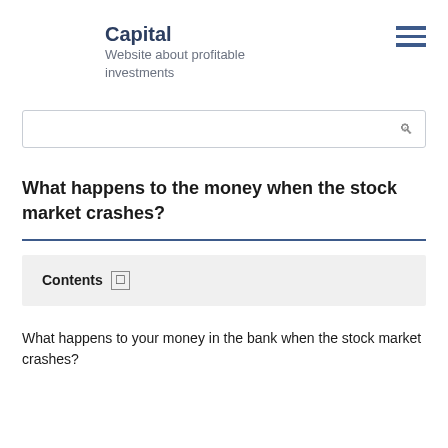Capital
Website about profitable investments
What happens to the money when the stock market crashes?
Contents
What happens to your money in the bank when the stock market crashes?